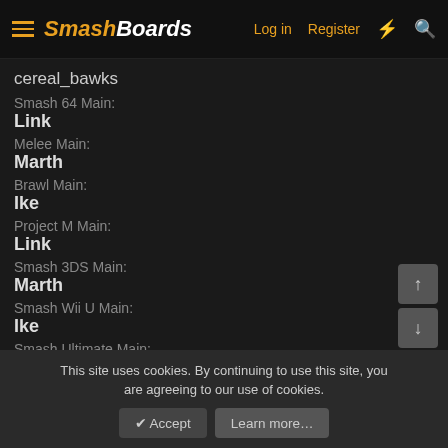SmashBoards — Log in | Register
cereal_bawks
Smash 64 Main:
Link
Melee Main:
Marth
Brawl Main:
Ike
Project M Main:
Link
Smash 3DS Main:
Marth
Smash Wii U Main:
Ike
Smash Ultimate Main:
Ike
This site uses cookies. By continuing to use this site, you are agreeing to our use of cookies.